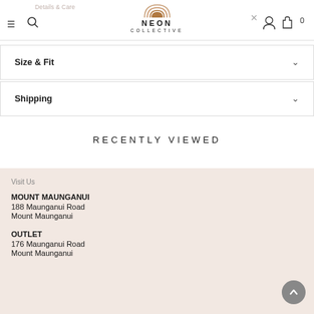Details & Care | NEON COLLECTIVE
Size & Fit
Shipping
RECENTLY VIEWED
Visit Us
MOUNT MAUNGANUI
188 Maunganui Road
Mount Maunganui
OUTLET
176 Maunganui Road
Mount Maunganui